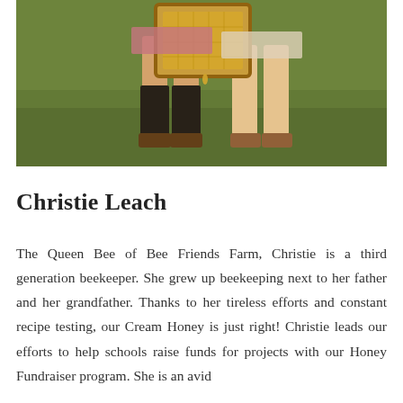[Figure (photo): Two children standing on green grass holding up a wooden framed piece of honeycomb between them. The image is cropped to show mainly their legs and the honeycomb frame they are holding.]
Christie Leach
The Queen Bee of Bee Friends Farm, Christie is a third generation beekeeper. She grew up beekeeping next to her father and her grandfather. Thanks to her tireless efforts and constant recipe testing, our Cream Honey is just right! Christie leads our efforts to help schools raise funds for projects with our Honey Fundraiser program. She is an avid